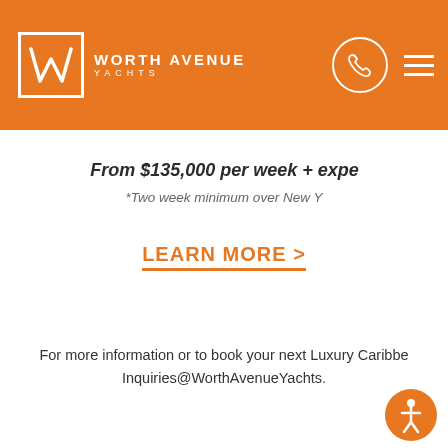Worth Avenue Yachts
From $135,000 per week + expe
*Two week minimum over New Y
LEARN MORE >
For more information or to book your next Luxury Caribbe Inquiries@WorthAvenueYachts.